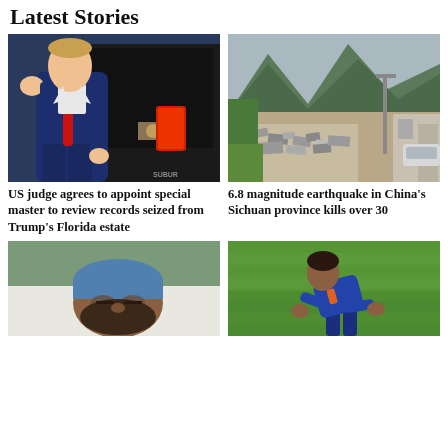Latest Stories
[Figure (photo): Donald Trump in a blue suit and red tie waving, walking past a black SUV]
[Figure (photo): Earthquake damage showing rubble on a road in Sichuan province, China, with mountains in background]
US judge agrees to appoint special master to review records seized from Trump's Florida estate
6.8 magnitude earthquake in China's Sichuan province kills over 30
[Figure (photo): Man lying in hospital bed wearing blue surgical cap]
[Figure (photo): Cricket player in blue uniform bent over on green field]